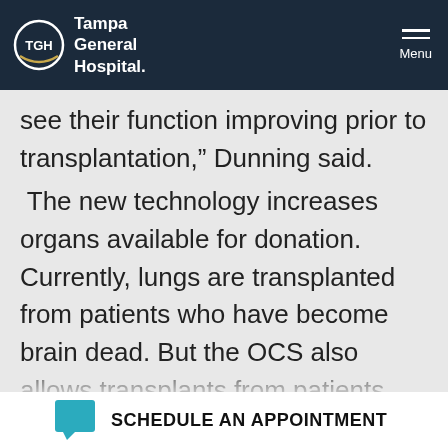TGH Tampa General Hospital | Menu
see their function improving prior to transplantation,” Dunning said.
The new technology increases organs available for donation. Currently, lungs are transplanted from patients who have become brain dead. But the OCS also allows transplants from patients whose deaths are classified as cardiac death, which has the potential to expand the donor pool by about 25 to 30 percent.
TGH’s overall goal is not only to provide more